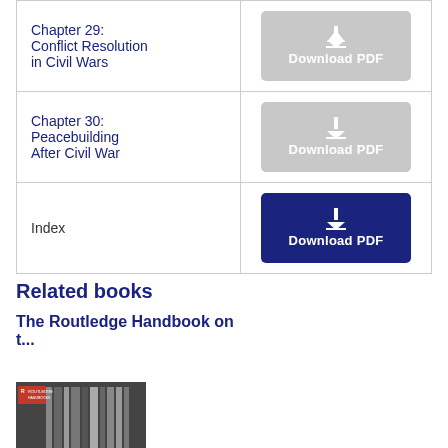| Chapter | Download |
| --- | --- |
| Chapter 29: Conflict Resolution in Civil Wars | Download PDF |
| Chapter 30: Peacebuilding After Civil War | Download PDF |
| Index | Download PDF |
Related books
The Routledge Handbook on t...
[Figure (photo): Book cover thumbnail for The Routledge Handbook, showing a dark image of books/columns with a red Routledge logo badge in the top left corner.]